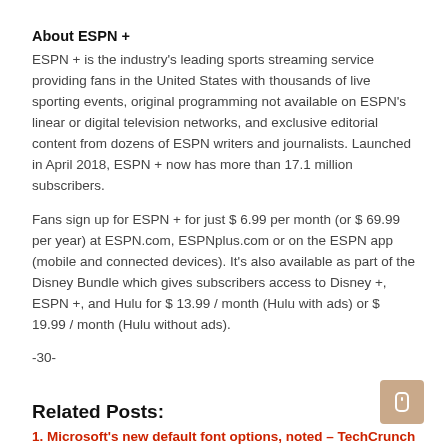About ESPN +
ESPN + is the industry's leading sports streaming service providing fans in the United States with thousands of live sporting events, original programming not available on ESPN's linear or digital television networks, and exclusive editorial content from dozens of ESPN writers and journalists. Launched in April 2018, ESPN + now has more than 17.1 million subscribers.
Fans sign up for ESPN + for just $ 6.99 per month (or $ 69.99 per year) at ESPN.com, ESPNplus.com or on the ESPN app (mobile and connected devices). It's also available as part of the Disney Bundle which gives subscribers access to Disney +, ESPN +, and Hulu for $ 13.99 / month (Hulu with ads) or $ 19.99 / month (Hulu without ads).
-30-
Related Posts:
1. Microsoft's new default font options, noted – TechCrunch